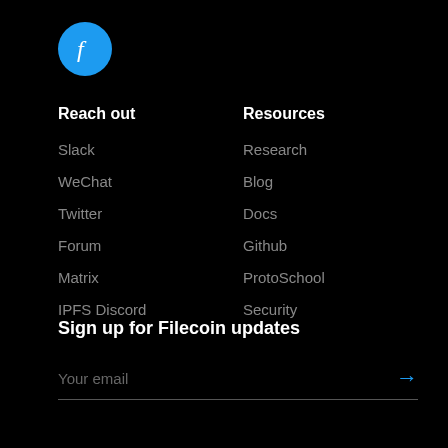[Figure (logo): Filecoin logo — blue circle with white stylized f]
Reach out
Slack
WeChat
Twitter
Forum
Matrix
IPFS Discord
Resources
Research
Blog
Docs
Github
ProtoSchool
Security
Sign up for Filecoin updates
Your email